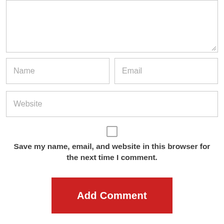[Figure (screenshot): Comment form textarea (partially visible, top portion cut off)]
Name
Email
Website
[Figure (other): Checkbox (unchecked)]
Save my name, email, and website in this browser for the next time I comment.
Add Comment